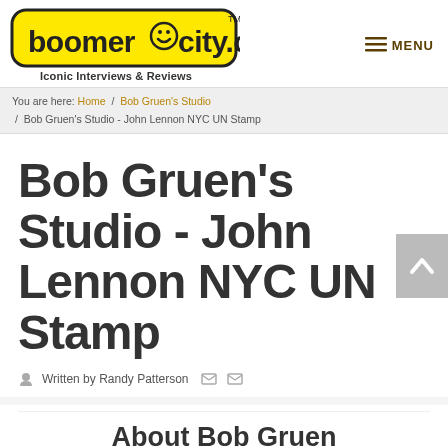boomerocity.com — Iconic Interviews & Reviews — MENU
You are here: Home / Bob Gruen's Studio / Bob Gruen's Studio - John Lennon NYC UN Stamp
Bob Gruen's Studio - John Lennon NYC UN Stamp
Written by Randy Patterson
About Bob Gruen